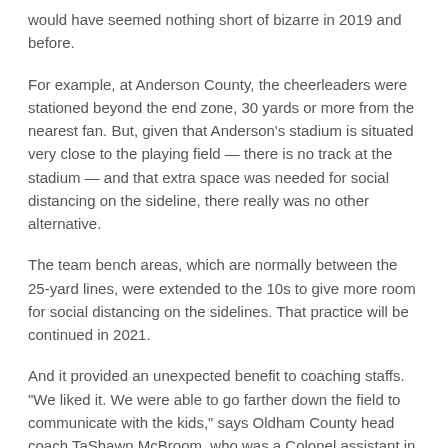would have seemed nothing short of bizarre in 2019 and before.
For example, at Anderson County, the cheerleaders were stationed beyond the end zone, 30 yards or more from the nearest fan. But, given that Anderson's stadium is situated very close to the playing field — there is no track at the stadium — and that extra space was needed for social distancing on the sideline, there really was no other alternative.
The team bench areas, which are normally between the 25-yard lines, were extended to the 10s to give more room for social distancing on the sidelines. That practice will be continued in 2021.
And it provided an unexpected benefit to coaching staffs. "We liked it. We were able to go farther down the field to communicate with the kids," says Oldham County head coach TaShawn McBroom, who was a Colonel assistant in 2020.